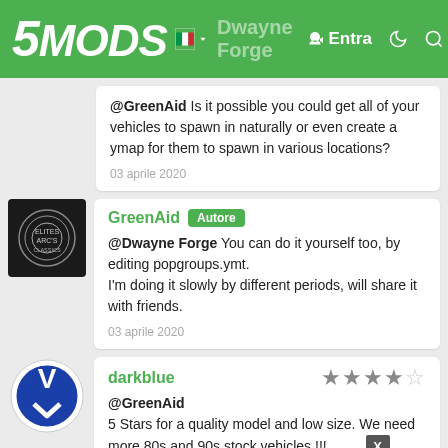5MODS — Dwayne Forge | Entra
@GreenAid Is it possible you could get all of your vehicles to spawn in naturally or even create a ymap for them to spawn in various locations?
03 aprile 2020
GreenAid [Autore]
@Dwayne Forge You can do it yourself too, by editing popgroups.ymt.
I'm doing it slowly by different periods, will share it with friends.
03 aprile 2020
darkblue [4.5 stars]
@GreenAid
5 Stars for a quality model and low size. We need more 80s and 90s stock vehicles !!!
But one bug I noticed: On the Bronco81 the rear window does not spawn along with the hardtop. Only with the cabrio version and then it looks weird...